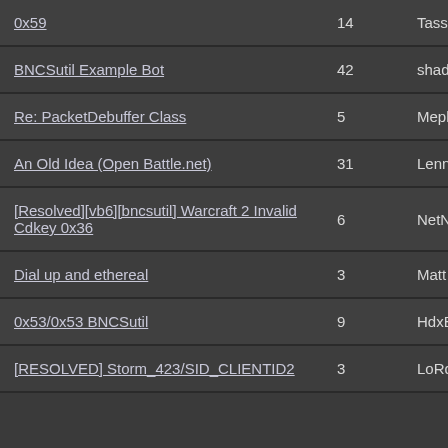| Topic | Replies | Author |
| --- | --- | --- |
| 0x59 | 14 | Tass |
| BNCSutil Example Bot | 42 | shadypalm8 |
| Re: PacketDebuffer Class | 5 | Mephisto |
| An Old Idea (Open Battle.net) | 31 | Lenny |
| [Resolved][vb6][bncsutil] Warcraft 2 Invalid Cdkey 0x36 | 6 | NetNX |
| Dial up and ethereal | 3 | Matt |
| 0x53/0x53 BNCSutil | 9 | HdxBmx27 |
| [RESOLVED] Storm_423/SID_CLIENTID2 | 3 | LoRd |